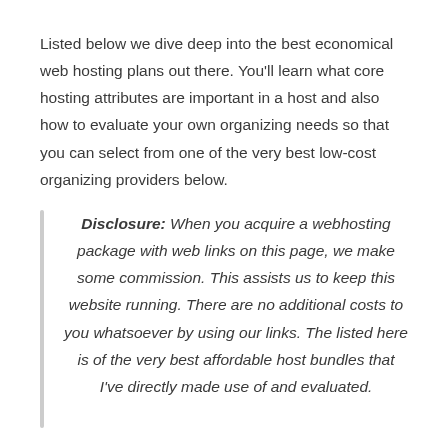Listed below we dive deep into the best economical web hosting plans out there. You'll learn what core hosting attributes are important in a host and also how to evaluate your own organizing needs so that you can select from one of the very best low-cost organizing providers below.
Disclosure: When you acquire a webhosting package with web links on this page, we make some commission. This assists us to keep this website running. There are no additional costs to you whatsoever by using our links. The listed here is of the very best affordable host bundles that I've directly made use of and evaluated.